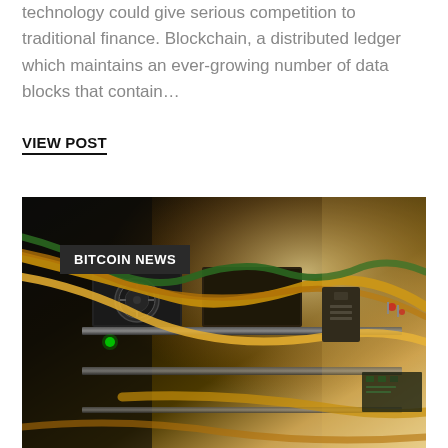technology could give serious competition to traditional finance. Blockchain, a distributed ledger which maintains an ever-growing number of data blocks that contain…
VIEW POST
[Figure (photo): Close-up photo of Bitcoin mining hardware rigs with cables, cooling fans, and circuit boards. A dark badge overlay in the upper left reads 'BITCOIN NEWS'.]